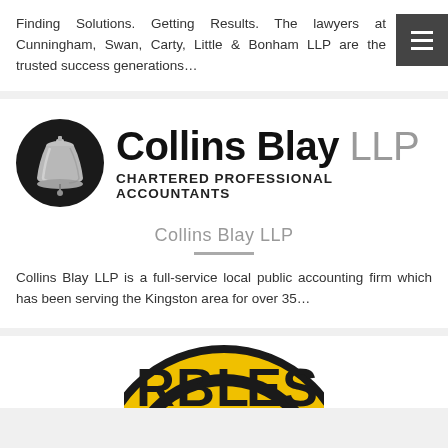Finding Solutions. Getting Results. The lawyers at Cunningham, Swan, Carty, Little & Bonham LLP are the trusted success generations…
[Figure (logo): Collins Blay LLP Chartered Professional Accountants logo — a black circle with a silver bell, beside the text 'Collins Blay LLP' in bold black and grey, with 'CHARTERED PROFESSIONAL ACCOUNTANTS' in smaller black bold text below]
Collins Blay LLP
Collins Blay LLP is a full-service local public accounting firm which has been serving the Kingston area for over 35…
[Figure (logo): Partial view of a circular yellow and black logo with the letters 'BLES' visible — appears to be a business logo, partially cropped at bottom of page]